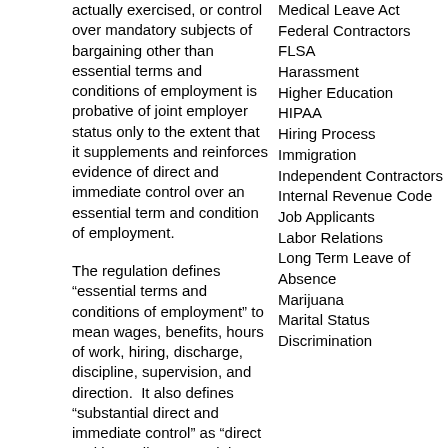actually exercised, or control over mandatory subjects of bargaining other than essential terms and conditions of employment is probative of joint employer status only to the extent that it supplements and reinforces evidence of direct and immediate control over an essential term and condition of employment.
The regulation defines “essential terms and conditions of employment” to mean wages, benefits, hours of work, hiring, discharge, discipline, supervision, and direction.  It also defines “substantial direct and immediate control” as “direct and immediate control that has a regular or continuous consequential effect on an essential term or condition of employment of another employer's employees.”  Control is not “substantial” if it is only exercised on a “sporadic, isolated, or de minimis basis.”
Medical Leave Act
Federal Contractors
FLSA
Harassment
Higher Education
HIPAA
Hiring Process
Immigration
Independent Contractors
Internal Revenue Code
Job Applicants
Labor Relations
Long Term Leave of Absence
Marijuana
Marital Status Discrimination